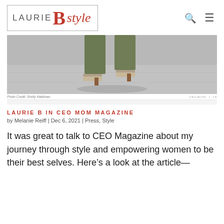LAURIE B style
[Figure (photo): Close-up photo of woman's legs walking, wearing olive/khaki wide-leg trousers and patterned heeled mules, on a grey pavement surface with shadow.]
Photo Credit: Shelly Waldman
LAURIE B IN CEO MOM MAGAZINE
by Melanie Reiff | Dec 6, 2021 | Press, Style
It was great to talk to CEO Magazine about my journey through style and empowering women to be their best selves. Here’s a look at the article—